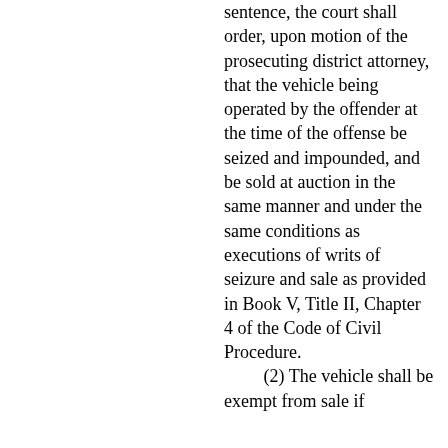sentence, the court shall order, upon motion of the prosecuting district attorney, that the vehicle being operated by the offender at the time of the offense be seized and impounded, and be sold at auction in the same manner and under the same conditions as executions of writs of seizure and sale as provided in Book V, Title II, Chapter 4 of the Code of Civil Procedure. (2) The vehicle shall be exempt from sale if